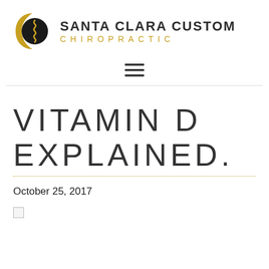[Figure (logo): Santa Clara Custom Chiropractic logo with crescent moon and spine icon in black and gold, with company name in black uppercase and 'CHIROPRACTIC' in gold spaced letters]
[Figure (other): Hamburger menu icon (three horizontal lines)]
VITAMIN D EXPLAINED.
October 25, 2017
[Figure (other): Small square icon/checkbox]